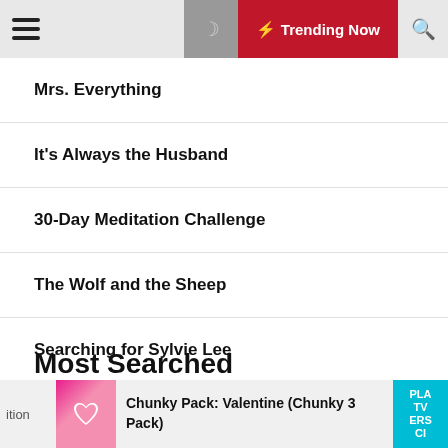Trending Now
Mrs. Everything
It's Always the Husband
30-Day Meditation Challenge
The Wolf and the Sheep
Searching for Sylvie Lee
Balkan Ghosts
Most Searched
Chunky Pack: Valentine (Chunky 3 Pack)